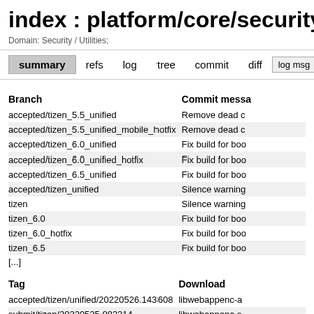index : platform/core/security
Domain: Security / Utilities;
summary  refs  log  tree  commit  diff  log msg
| Branch | Commit messa |
| --- | --- |
| accepted/tizen_5.5_unified | Remove dead c |
| accepted/tizen_5.5_unified_mobile_hotfix | Remove dead c |
| accepted/tizen_6.0_unified | Fix build for boo |
| accepted/tizen_6.0_unified_hotfix | Fix build for boo |
| accepted/tizen_6.5_unified | Fix build for boo |
| accepted/tizen_unified | Silence warning |
| tizen | Silence warning |
| tizen_6.0 | Fix build for boo |
| tizen_6.0_hotfix | Fix build for boo |
| tizen_6.5 | Fix build for boo |
| [...] |  |
| Tag | Download |
| --- | --- |
| accepted/tizen/unified/20220526.143608 | libwebappenc-a |
| submit/tizen/20220525.082214 | libwebappenc-s |
| submit/tizen/20220524.064627 | libwebappenc-s |